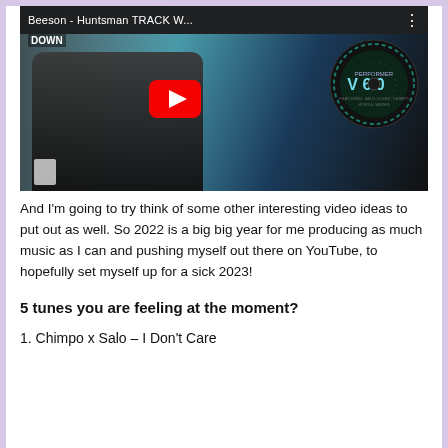[Figure (screenshot): YouTube video thumbnail showing 'Beeson - Huntsman TRACK W...' with a play button, a person in a black jacket, and album art for 'PERFORMER V 6.0' on the right]
And I'm going to try think of some other interesting video ideas to put out as well. So 2022 is a big big year for me producing as much music as I can and pushing myself out there on YouTube, to hopefully set myself up for a sick 2023!
5 tunes you are feeling at the moment?
1. Chimpo x Salo – I Don't Care